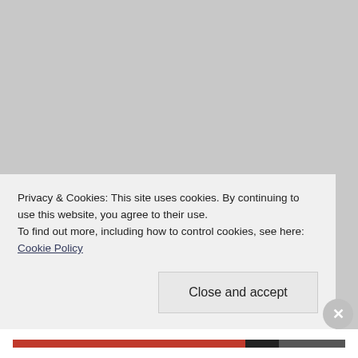Plinth
Plus Size
Poetry
Police
Police corruption
Police Women
Post Natal Depression
Privacy & Cookies: This site uses cookies. By continuing to use this website, you agree to their use.
To find out more, including how to control cookies, see here: Cookie Policy
Close and accept